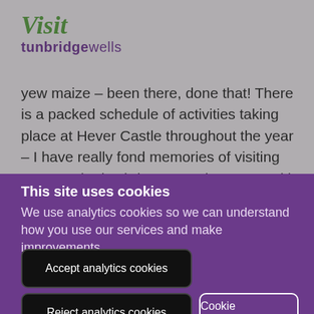[Figure (logo): Visit Tunbridge Wells logo — 'Visit' in green italic script font, 'tunbridgewells' in purple bold sans-serif below]
yew maize – been there, done that! There is a packed schedule of activities taking place at Hever Castle throughout the year – I have really fond memories of visiting Hever at both Christmas and Easter and it's something we will do for many years
This site uses cookies
We use analytics cookies so we can understand how you use our services and make improvements.
Accept analytics cookies
Reject analytics cookies
Cookie Preferences